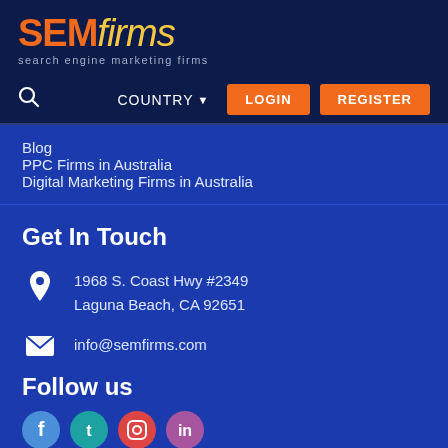[Figure (logo): SEMfirms logo with orange SEM and yellow italic firms text, subtitle: search engine marketing firms]
COUNTRY ▼  LOGIN  REGISTER
Blog
PPC Firms in Australia
Digital Marketing Firms in Australia
Get In Touch
1968 S. Coast Hwy #2349
Laguna Beach, CA 92651
info@semfirms.com
Follow us